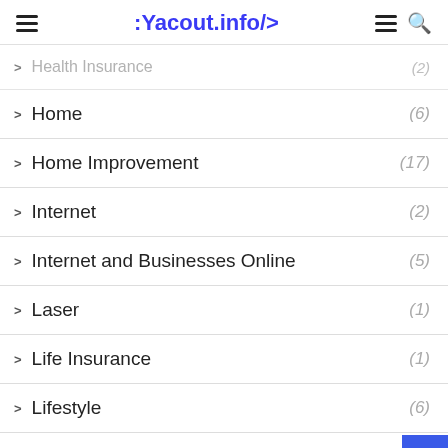:Yacout.info/>
Health Insurance (2)
Home (6)
Home Improvement (17)
Internet (2)
Internet and Businesses Online (5)
Laser (1)
Life Insurance (1)
Lifestyle (6)
Marketing